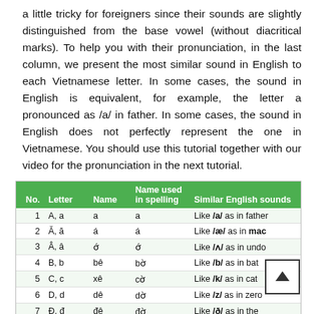a little tricky for foreigners since their sounds are slightly distinguished from the base vowel (without diacritical marks). To help you with their pronunciation, in the last column, we present the most similar sound in English to each Vietnamese letter. In some cases, the sound in English is equivalent, for example, the letter a pronounced as /a/ in father. In some cases, the sound in English does not perfectly represent the one in Vietnamese. You should use this tutorial together with our video for the pronunciation in the next tutorial.
| No. | Letter | Name | Name used in spelling | Similar English sounds |
| --- | --- | --- | --- | --- |
| 1 | A, a | a | a | Like /a/ as in father |
| 2 | Ă, ă | á | á | Like /æ/ as in mac |
| 3 | Â, â | ớ | ớ | Like /ʌ/ as in undo |
| 4 | B, b | bê | bờ | Like /b/ as in bat |
| 5 | C, c | xê | cờ | Like /k/ as in cat |
| 6 | D, d | dê | dờ | Like /z/ as in zero |
| 7 | Đ, đ | đê | đờ | Like /ð/ as in the |
| 8 | E, e | e | e | Like /ɛ/ as in end |